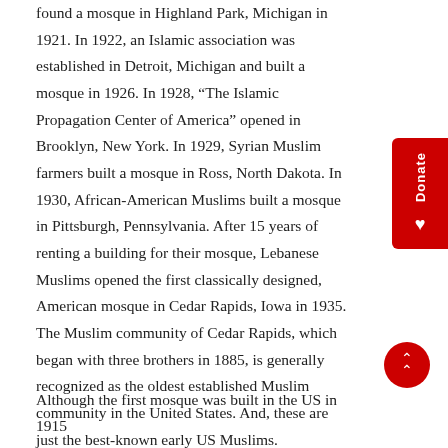found a mosque in Highland Park, Michigan in 1921. In 1922, an Islamic association was established in Detroit, Michigan and built a mosque in 1926. In 1928, “The Islamic Propagation Center of America” opened in Brooklyn, New York. In 1929, Syrian Muslim farmers built a mosque in Ross, North Dakota. In 1930, African-American Muslims built a mosque in Pittsburgh, Pennsylvania. After 15 years of renting a building for their mosque, Lebanese Muslims opened the first classically designed, American mosque in Cedar Rapids, Iowa in 1935. The Muslim community of Cedar Rapids, which began with three brothers in 1885, is generally recognized as the oldest established Muslim community in the United States. And, these are just the best-known early US Muslims.
Although the first mosque was built in the US in 1915